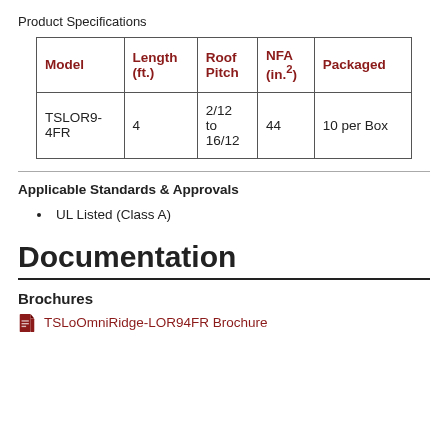Product Specifications
| Model | Length (ft.) | Roof Pitch | NFA (in.²) | Packaged |
| --- | --- | --- | --- | --- |
| TSLOR9-4FR | 4 | 2/12 to 16/12 | 44 | 10 per Box |
Applicable Standards & Approvals
UL Listed (Class A)
Documentation
Brochures
TSLoOmniRidge-LOR94FR Brochure